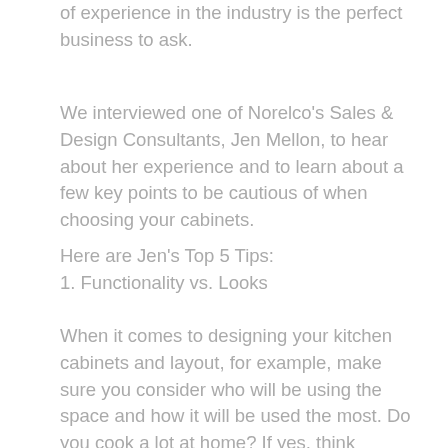of experience in the industry is the perfect business to ask.
We interviewed one of Norelco's Sales & Design Consultants, Jen Mellon, to hear about her experience and to learn about a few key points to be cautious of when choosing your cabinets.
Here are Jen's Top 5 Tips:
1. Functionality vs. Looks
When it comes to designing your kitchen cabinets and layout, for example, make sure you consider who will be using the space and how it will be used the most. Do you cook a lot at home? If yes, think through your cooking process and where you'd like everything to go for a seamless meal prepping and cooking